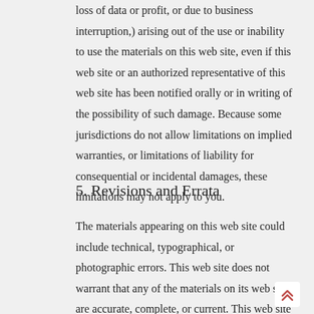loss of data or profit, or due to business interruption,) arising out of the use or inability to use the materials on this web site, even if this web site or an authorized representative of this web site has been notified orally or in writing of the possibility of such damage. Because some jurisdictions do not allow limitations on implied warranties, or limitations of liability for consequential or incidental damages, these limitations may not apply to you.
5. Revisions and Errata
The materials appearing on this web site could include technical, typographical, or photographic errors. This web site does not warrant that any of the materials on its web site are accurate, complete, or current. This web site may make changes to the materials contained on its web site at